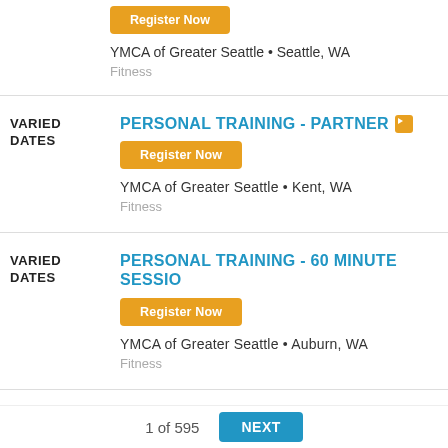YMCA of Greater Seattle • Seattle, WA
Fitness
VARIED DATES
PERSONAL TRAINING - PARTNER
Register Now
YMCA of Greater Seattle • Kent, WA
Fitness
VARIED DATES
PERSONAL TRAINING - 60 MINUTE SESSION
Register Now
YMCA of Greater Seattle • Auburn, WA
Fitness
1 of 595   NEXT